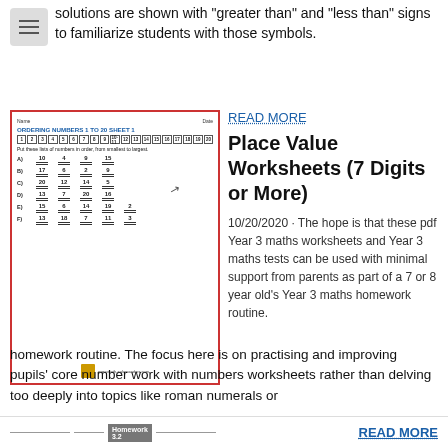solutions are shown with "greater than" and "less than" signs to familiarize students with those symbols.
[Figure (illustration): A worksheet thumbnail showing 'ORDERING NUMBERS 1 TO 20 SHEET 1' with number boxes 1-20 and ordering exercises labeled A through F with numbers to order from smallest to largest.]
READ MORE
Place Value Worksheets (7 Digits or More)
10/20/2020 · The hope is that these pdf Year 3 maths worksheets and Year 3 maths tests can be used with minimal support from parents as part of a 7 or 8 year old's Year 3 maths homework routine. The focus here is on practising and improving pupils' core number work with numbers worksheets rather than delving too deeply into topics like roman numerals or
READ MORE